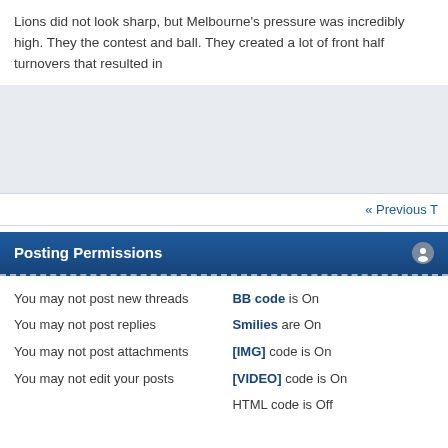Lions did not look sharp, but Melbourne's pressure was incredibly high. They the contest and ball. They created a lot of front half turnovers that resulted in
« Previous T
Posting Permissions
You may not post new threads
You may not post replies
You may not post attachments
You may not edit your posts
BB code is On
Smilies are On
[IMG] code is On
[VIDEO] code is On
HTML code is Off
Forum Rules